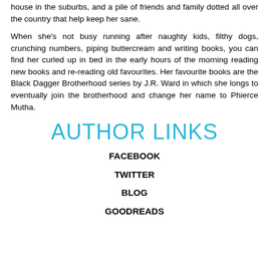house in the suburbs, and a pile of friends and family dotted all over the country that help keep her sane.
When she's not busy running after naughty kids, filthy dogs, crunching numbers, piping buttercream and writing books, you can find her curled up in bed in the early hours of the morning reading new books and re-reading old favourites. Her favourite books are the Black Dagger Brotherhood series by J.R. Ward in which she longs to eventually join the brotherhood and change her name to Phierce Mutha.
AUTHOR LINKS
FACEBOOK
TWITTER
BLOG
GOODREADS